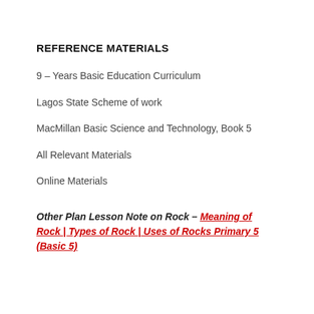REFERENCE MATERIALS
9 – Years Basic Education Curriculum
Lagos State Scheme of work
MacMillan Basic Science and Technology, Book 5
All Relevant Materials
Online Materials
Other Plan Lesson Note on Rock – Meaning of Rock | Types of Rock | Uses of Rocks Primary 5 (Basic 5)